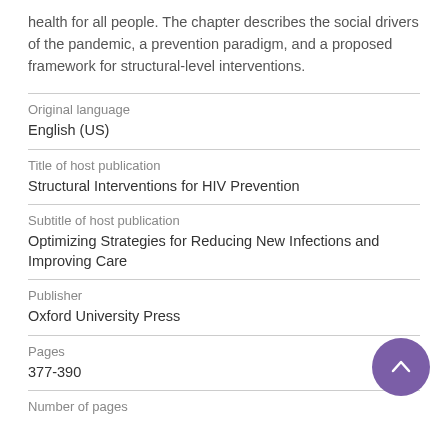health for all people. The chapter describes the social drivers of the pandemic, a prevention paradigm, and a proposed framework for structural-level interventions.
| Original language | English (US) |
| Title of host publication | Structural Interventions for HIV Prevention |
| Subtitle of host publication | Optimizing Strategies for Reducing New Infections and Improving Care |
| Publisher | Oxford University Press |
| Pages | 377-390 |
| Number of pages |  |